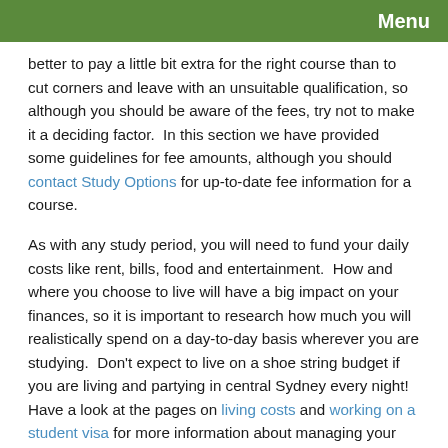Menu
better to pay a little bit extra for the right course than to cut corners and leave with an unsuitable qualification, so although you should be aware of the fees, try not to make it a deciding factor.  In this section we have provided some guidelines for fee amounts, although you should contact Study Options for up-to-date fee information for a course.
As with any study period, you will need to fund your daily costs like rent, bills, food and entertainment.  How and where you choose to live will have a big impact on your finances, so it is important to research how much you will realistically spend on a day-to-day basis wherever you are studying.  Don't expect to live on a shoe string budget if you are living and partying in central Sydney every night!  Have a look at the pages on living costs and working on a student visa for more information about managing your finances.